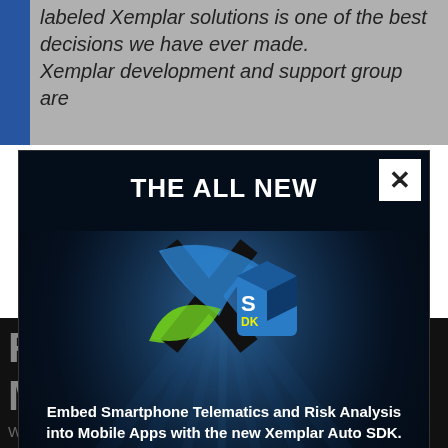labeled Xemplar solutions is one of the best decisions we have ever made. Xemplar development and support group are
[Figure (infographic): Advertisement popup for 'THE ALL NEW' Xemplar Auto SDK. Dark background with blue light beam effect, Xemplar X logo with SDK cube graphic, tagline 'Embed Smartphone Telematics and Risk Analysis into Mobile Apps with the new Xemplar Auto SDK.' Bullet points: Native Mobile Libraries, External API End Points, Proprietary ASW Cloud Backend, Analytics Web Portal. Yellow LEARN MORE button. White X close button in top right corner.]
REQUEST A MEETING
We will get back to you within one business...